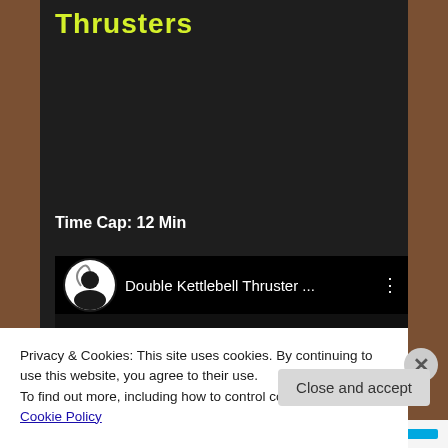Thrusters
Time Cap: 12 Min
[Figure (screenshot): YouTube video thumbnail showing 'Double Kettlebell Thruster ...' with channel icon and three-dot menu]
Privacy & Cookies: This site uses cookies. By continuing to use this website, you agree to their use.
To find out more, including how to control cookies, see here: Cookie Policy
Close and accept